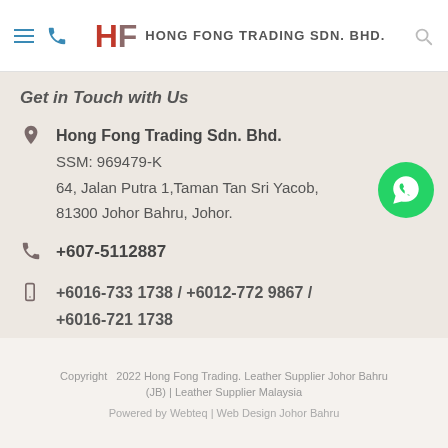HF HONG FONG TRADING SDN. BHD.
Get in Touch with Us
Hong Fong Trading Sdn. Bhd.
SSM: 969479-K
64, Jalan Putra 1,Taman Tan Sri Yacob,
81300 Johor Bahru, Johor.
+607-5112887
+6016-733 1738 / +6012-772 9867 / +6016-721 1738
info@hongfongtrading.com
Copyright 2022 Hong Fong Trading. Leather Supplier Johor Bahru (JB) | Leather Supplier Malaysia
Powered by Webteq | Web Design Johor Bahru